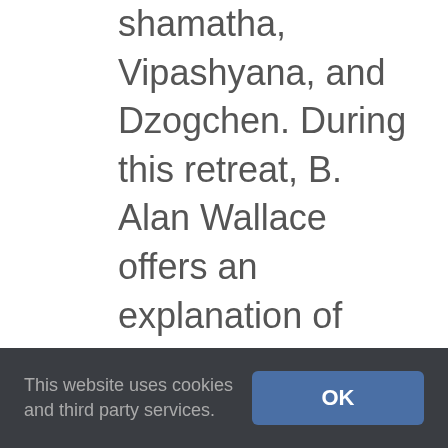shamatha, Vipashyana, and Dzogchen. During this retreat, B. Alan Wallace offers an explanation of Dujom Lingpas teachings, together with guided meditations for putting them into practice. All seven days of this retreat are reproduced in full in this two CD set, conveniently divided into teachings, meditations, and discussions. PDF files on the first disk include explanatory notes on the audio files, retreat handouts, and other pertinent information. This audio MP3 CD set chronicles the seven-day retreat held at Santa Barbara's
This website uses cookies and third party services.
OK